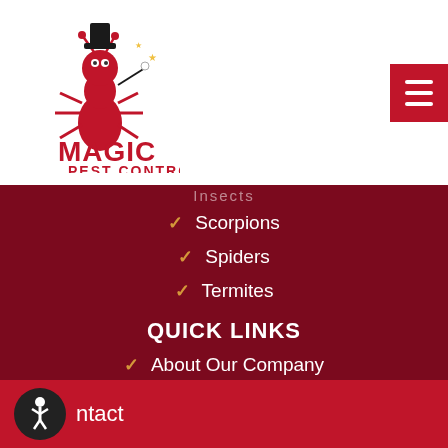[Figure (logo): Magic Pest Control logo with cartoon ant magician character and red text]
Scorpions
Spiders
Termites
QUICK LINKS
About Our Company
Coupons
Meet Our Technicians !
Contact